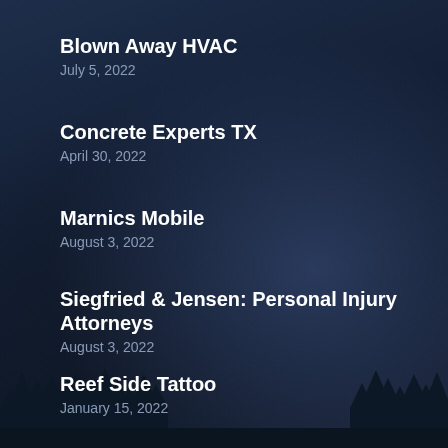Blown Away HVAC
July 5, 2022
Concrete Experts TX
April 30, 2022
Marnics Mobile
August 3, 2022
Siegfried & Jensen: Personal Injury Attorneys
August 3, 2022
Reef Side Tattoo
January 15, 2022